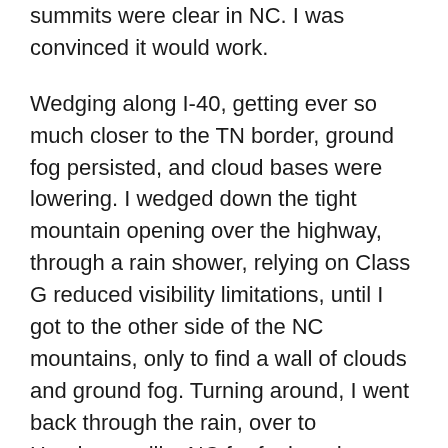summits were clear in NC. I was convinced it would work.
Wedging along I-40, getting ever so much closer to the TN border, ground fog persisted, and cloud bases were lowering. I wedged down the tight mountain opening over the highway, through a rain shower, relying on Class G reduced visibility limitations, until I got to the other side of the NC mountains, only to find a wall of clouds and ground fog. Turning around, I went back through the rain, over to Hendersonville, NC for fuel, and regrouped. I must say, it was not a pleasant part of the flight. All visibilities improved in the TN valley as reported by weather stations, though I checked north of Asheville again, and the barrier was moving in: zero visibility, ground to sky, end of